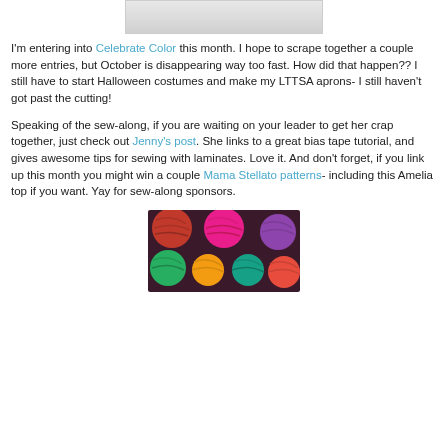[Figure (photo): Partial top image, likely a sewing/fabric photo, cropped at top]
I'm entering into Celebrate Color this month. I hope to scrape together a couple more entries, but October is disappearing way too fast. How did that happen?? I still have to start Halloween costumes and make my LTTSA aprons- I still haven't got past the cutting!
Speaking of the sew-along, if you are waiting on your leader to get her crap together, just check out Jenny's post. She links to a great bias tape tutorial, and gives awesome tips for sewing with laminates. Love it. And don't forget, if you link up this month you might win a couple Mama Stellato patterns- including this Amelia top if you want. Yay for sew-along sponsors.
[Figure (photo): Colorful balls of yarn in various colors including red, pink, green, yellow, blue, purple]